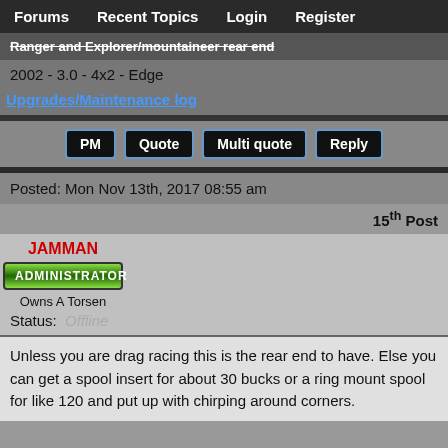Forums   Recent Topics   Login   Register
Ranger and Explorer/mountaineer rear end
2002 - 3.0 - 4x2 - Edge
Upgrades/Maintenance log
PM   Quote   Multi quote   Reply
Posted: Mon Nov 13th, 2017 08:55 am
15th Post
JAMMAN
[Figure (other): ADMINISTRATOR green badge button]
Owns A Torsen
Status: Offline
Unless you are drag racing this is the rear end to have. Else you can get a spool insert for about 30 bucks or a ring mount spool for like 120 and put up with chirping around corners.